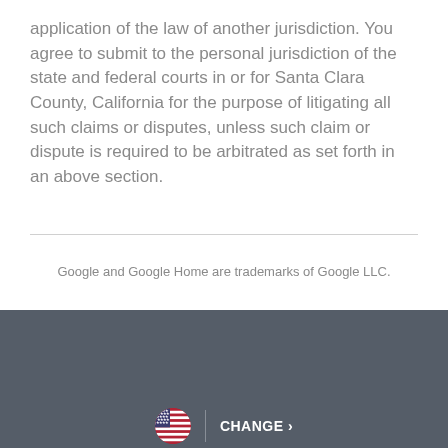application of the law of another jurisdiction. You agree to submit to the personal jurisdiction of the state and federal courts in or for Santa Clara County, California for the purpose of litigating all such claims or disputes, unless such claim or dispute is required to be arbitrated as set forth in an above section.
Google and Google Home are trademarks of Google LLC.
[Figure (illustration): US flag circle icon with CHANGE > text link and vertical divider, on dark gray footer background]
© 2022 Nest Labs
Legal | Privacy